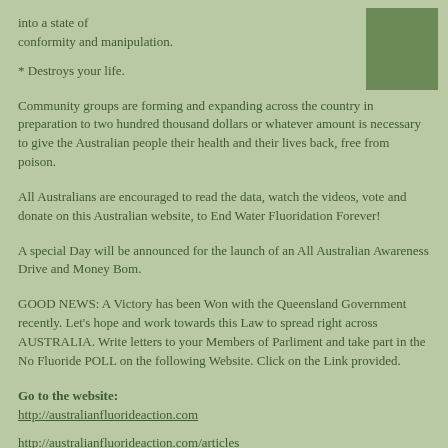into a state of conformity and manipulation.
* Destroys your life.
Community groups are forming and expanding across the country in preparation to two hundred thousand dollars or whatever amount is necessary to give the Australian people their health and their lives back, free from poison.
All Australians are encouraged to read the data, watch the videos, vote and donate on this Australian website, to End Water Fluoridation Forever!
A special Day will be announced for the launch of an All Australian Awareness Drive and Money Bom.
GOOD NEWS: A Victory has been Won with the Queensland Government recently. Let's hope and work towards this Law to spread right across AUSTRALIA. Write letters to your Members of Parliment and take part in the No Fluoride POLL on the following Website. Click on the Link provided.
Go to the website: http://australianfluorideaction.com
http://australianfluorideaction.com/articles